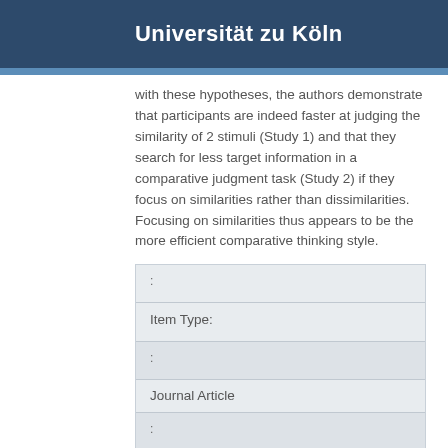Universität zu Köln
with these hypotheses, the authors demonstrate that participants are indeed faster at judging the similarity of 2 stimuli (Study 1) and that they search for less target information in a comparative judgment task (Study 2) if they focus on similarities rather than dissimilarities. Focusing on similarities thus appears to be the more efficient comparative thinking style.
| : |  |
| Item Type: |  |
| : |  |
| Journal Article |  |
| : |  |
| Creators: |  |
| : |  |